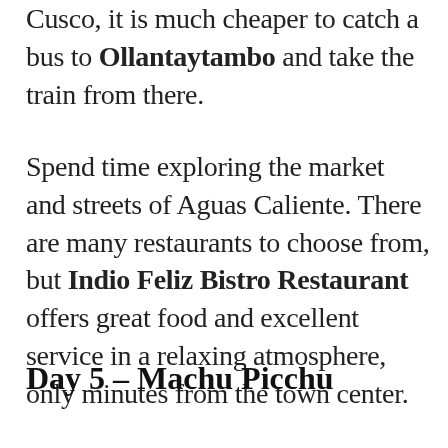Cusco, it is much cheaper to catch a bus to Ollantaytambo and take the train from there.
Spend time exploring the market and streets of Aguas Caliente. There are many restaurants to choose from, but Indio Feliz Bistro Restaurant offers great food and excellent service in a relaxing atmosphere, only minutes from the town center.
Day 5 – Machu Picchu